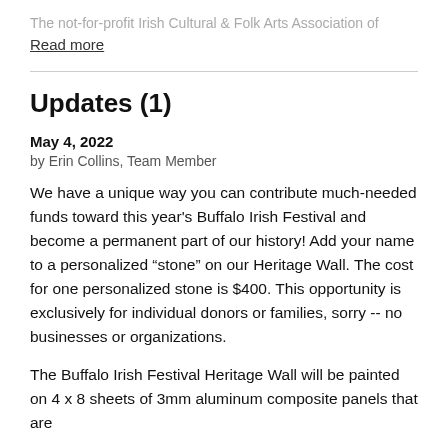The not-for-profit Irish Cultural & Folk Arts Association of
Read more
Updates (1)
May 4, 2022
by Erin Collins, Team Member
We have a unique way you can contribute much-needed funds toward this year's Buffalo Irish Festival and become a permanent part of our history! Add your name to a personalized “stone” on our Heritage Wall. The cost for one personalized stone is $400. This opportunity is exclusively for individual donors or families, sorry -- no businesses or organizations.
The Buffalo Irish Festival Heritage Wall will be painted on 4 x 8 sheets of 3mm aluminum composite panels that are